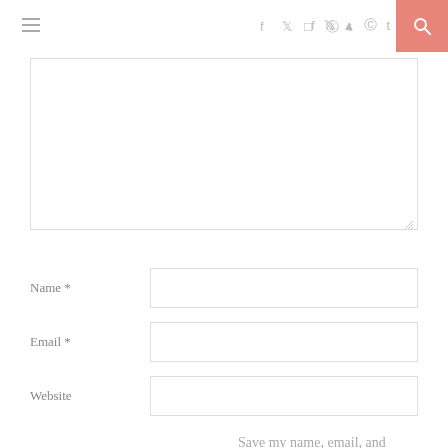≡  f  ✦  ☷  ⊕  t  🔍
[Figure (screenshot): Comment form textarea (empty), partially visible at top]
Name *
Email *
Website
Save my name, email, and website in this browser for the next time I